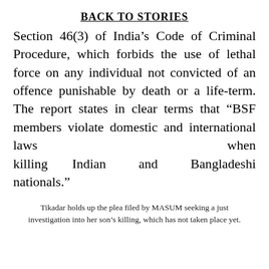BACK TO STORIES
Section 46(3) of India’s Code of Criminal Procedure, which forbids the use of lethal force on any individual not convicted of an offence punishable by death or a life-term. The report states in clear terms that “BSF members violate domestic and international laws when killing Indian and Bangladeshi nationals.”
Tikadar holds up the plea filed by MASUM seeking a just investigation into her son’s killing, which has not taken place yet.